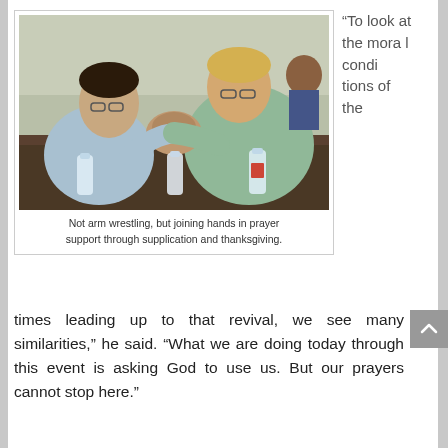[Figure (photo): Two men at a table leaning toward each other with hands clasped together in prayer, water bottles visible on the table, others in background.]
Not arm wrestling, but joining hands in prayer support through supplication and thanksgiving.
“To look at the moral conditions of the times leading up to that revival, we see many similarities,” he said. “What we are doing today through this event is asking God to use us. But our prayers cannot stop here.”